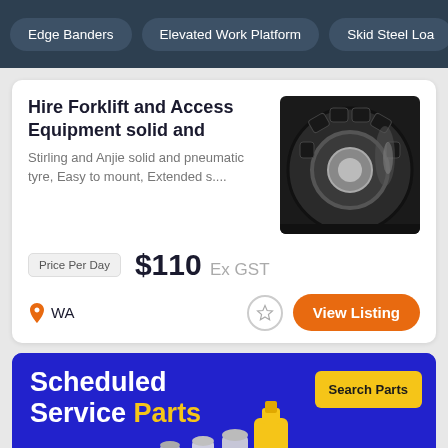Edge Banders | Elevated Work Platform | Skid Steel Loa
Hire Forklift and Access Equipment solid and
Stirling and Anjie solid and pneumatic tyre, Easy to mount, Extended s....
[Figure (photo): Close-up photo of a black solid forklift tyre showing hex tread pattern and inner ring]
Price Per Day  $110 Ex GST
WA
[Figure (infographic): Advertisement banner for Scheduled Service Parts on blue background with yellow 'Search Parts' button and product images of filters and oil containers]